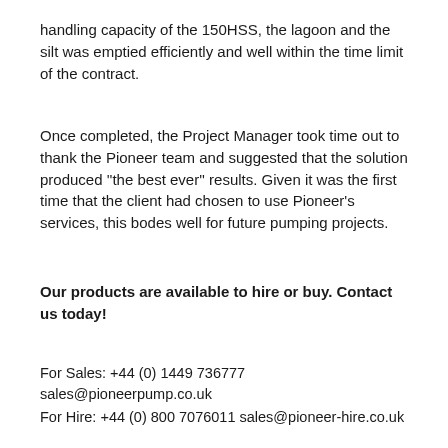handling capacity of the 150HSS, the lagoon and the silt was emptied efficiently and well within the time limit of the contract.
Once completed, the Project Manager took time out to thank the Pioneer team and suggested that the solution produced ''the best ever'' results. Given it was the first time that the client had chosen to use Pioneer's services, this bodes well for future pumping projects.
Our products are available to hire or buy. Contact us today!
For Sales: +44 (0) 1449 736777 sales@pioneerpump.co.uk
For Hire: +44 (0) 800 7076011 sales@pioneer-hire.co.uk